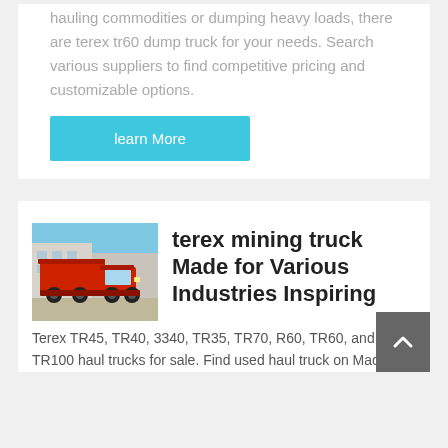hauling commodities or dumping heavy loads, there are terex tr60 dump truck for your needs. Search various suppliers to find competitive pricing and customizable options.
learn More
[Figure (photo): Red Terex mining/dump truck parked in front of a building, photographed against a blue sky.]
terex mining truck Made for Various Industries Inspiring
Terex TR45, TR40, 3340, TR35, TR70, R60, TR60, and TR100 haul trucks for sale. Find used haul truck on Machinio.